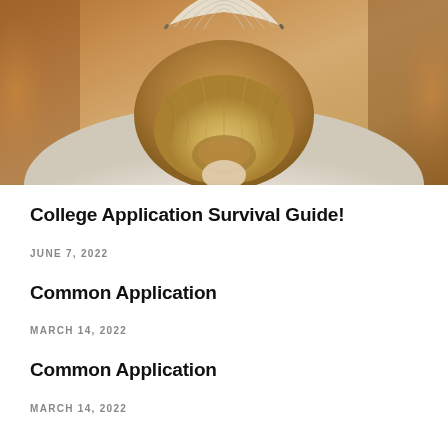[Figure (photo): Person seen from behind with blonde hair in a bun, book pages fanned open on top of their head, wearing a white shirt, warm wooden background]
College Application Survival Guide!
JUNE 7, 2022
Common Application
MARCH 14, 2022
Common Application
MARCH 14, 2022